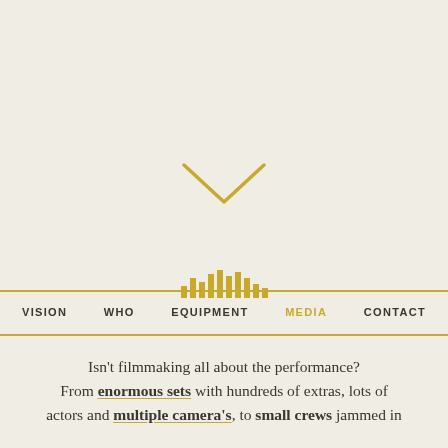[Figure (illustration): Gold chevron/downward arrow icon centered in the upper portion of the page on a light cream background]
VISION   WHO   EQUIPMENT   MEDIA   CONTACT
Isn't filmmaking all about the performance? From enormous sets with hundreds of extras, lots of actors and multiple camera's, to small crews jammed in